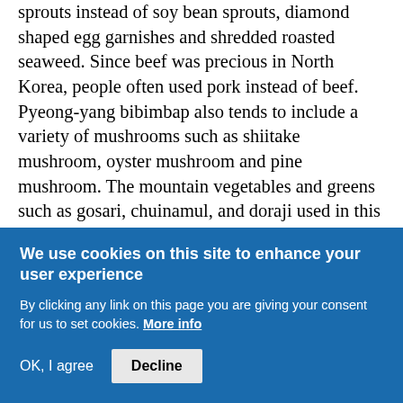sprouts instead of soy bean sprouts, diamond shaped egg garnishes and shredded roasted seaweed. Since beef was precious in North Korea, people often used pork instead of beef. Pyeong-yang bibimbap also tends to include a variety of mushrooms such as shiitake mushroom, oyster mushroom and pine mushroom. The mountain vegetables and greens such as gosari, chuinamul, and doraji used in this bibimbap are similar to other types of bibimbap.
Don't be overwhelmed by the number of toppings though. You can just pick and
We use cookies on this site to enhance your user experience

By clicking any link on this page you are giving your consent for us to set cookies. More info

OK, I agree    Decline